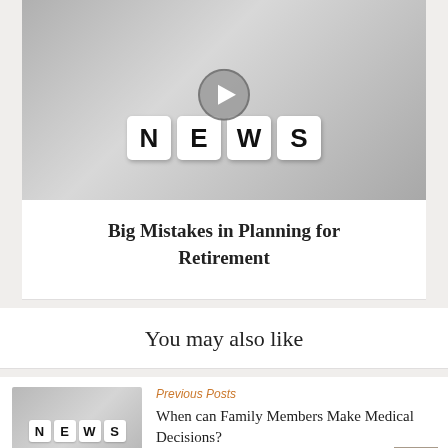[Figure (photo): Photo of letter cubes spelling NEWS on newspaper background with a play button overlay]
Big Mistakes in Planning for Retirement
You may also like
[Figure (photo): Small thumbnail photo of letter cubes spelling NEWS on newspaper background]
Previous Posts
When can Family Members Make Medical Decisions?